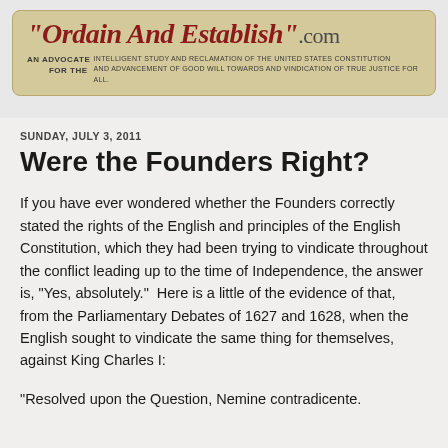"Ordain And Establish".com — An Advocate for the Intelligent Study and Reclamation of the United States Constitution and Advancement of Good Will towards and Vindication of True Justice for All.
SUNDAY, JULY 3, 2011
Were the Founders Right?
If you have ever wondered whether the Founders correctly stated the rights of the English and principles of the English Constitution, which they had been trying to vindicate throughout the conflict leading up to the time of Independence, the answer is, "Yes, absolutely."  Here is a little of the evidence of that, from the Parliamentary Debates of 1627 and 1628, when the English sought to vindicate the same thing for themselves, against King Charles I:
“Resolved upon the Question, Nemine contradicente.